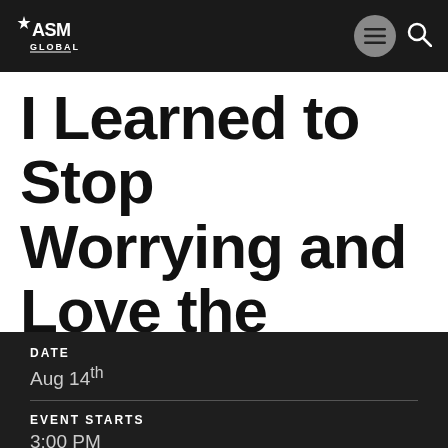ASM Global
I Learned to Stop Worrying and Love the Bomb
DATE
Aug 14th
EVENT STARTS
3:00 PM
VENUE